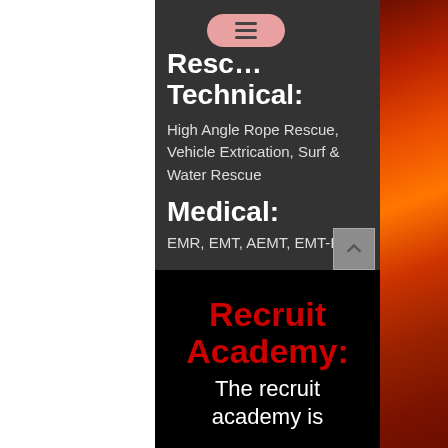Rescue Technical:
High Angle Rope Rescue, Vehicle Extrication, Surf & Water Rescue
Medical:
EMR, EMT, AEMT, EMT-I
Recruit Academy:
The recruit academy is